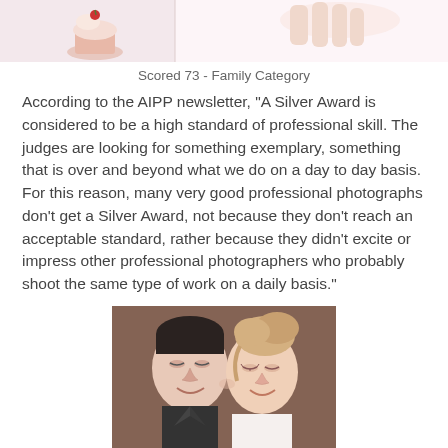[Figure (photo): Partial top cropped photo showing cupcake/birthday items on a light pink/white background]
Scored 73 - Family Category
According to the AIPP newsletter, "A Silver Award is considered to be a high standard of professional skill. The judges are looking for something exemplary, something that is over and beyond what we do on a day to day basis. For this reason, many very good professional photographs don't get a Silver Award, not because they don't reach an acceptable standard, rather because they didn't excite or impress other professional photographers who probably shoot the same type of work on a daily basis."
[Figure (photo): Wedding couple photo — man with dark hair and woman with blonde updo, touching noses and smiling, romantic close-up portrait]